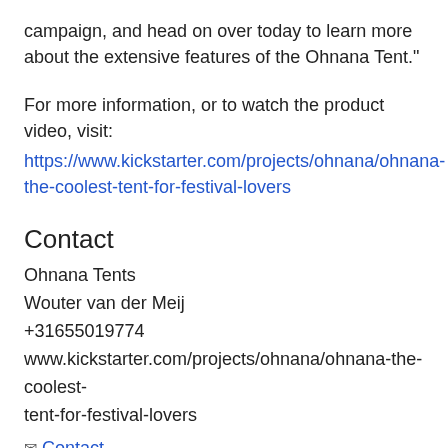campaign, and head on over today to learn more about the extensive features of the Ohnana Tent."
For more information, or to watch the product video, visit:
https://www.kickstarter.com/projects/ohnana/ohnana-the-coolest-tent-for-festival-lovers
Contact
Ohnana Tents
Wouter van der Meij
+31655019774
www.kickstarter.com/projects/ohnana/ohnana-the-coolest-tent-for-festival-lovers
✉ Contact
Multimedia